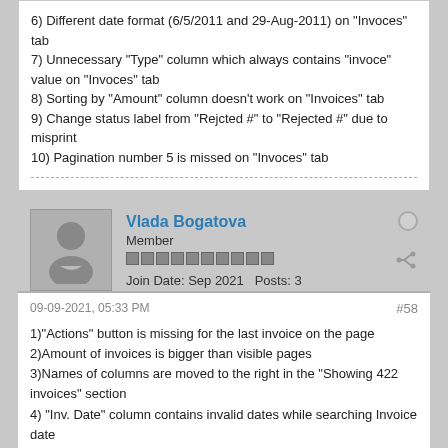6) Different date format (6/5/2011 and 29-Aug-2011) on "Invoces" tab
7) Unnecessary "Type" column which always contains "invoce" value on "Invoces" tab
8) Sorting by "Amount" column doesn't work on "Invoices" tab
9) Change status label from "Rejcted #" to "Rejected #" due to misprint
10) Pagination number 5 is missed on "Invoces" tab
Vlada Bogatova
Member
Join Date: Sep 2021   Posts: 3
09-09-2021, 05:33 PM   #58
1)"Actions" button is missing for the last invoice on the page
2)Amount of invoices is bigger than visible pages
3)Names of columns are moved to the right in the "Showing 422 invoices" section
4) "Inv. Date" column contains invalid dates while searching Invoice date
5) "Customer" column is missing in "Showing 422 invoices" section
Last edited by Vlada Bogatova; 09-09-2021, 06:55 PM.